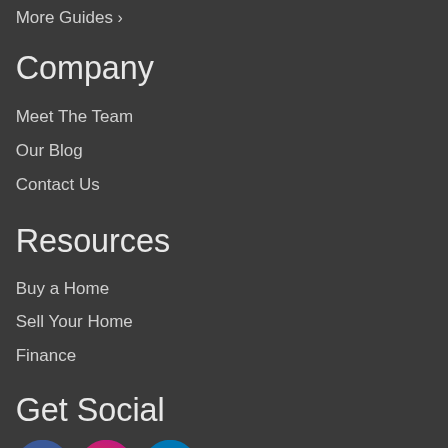More Guides >
Company
Meet The Team
Our Blog
Contact Us
Resources
Buy a Home
Sell Your Home
Finance
Get Social
[Figure (other): Three social media icon circles: Facebook (blue), Instagram (pink/magenta gradient), LinkedIn (blue)]
About Us
Chart House Realtors is Rhode Island's most innovative real estate